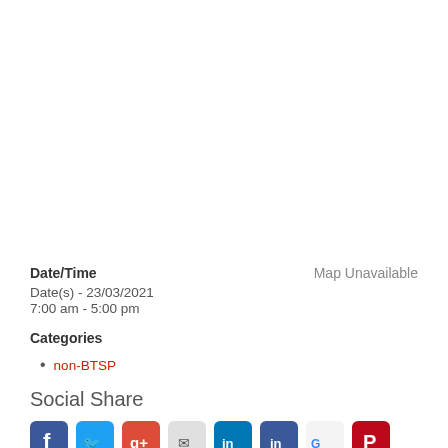Date/Time
Date(s) - 23/03/2021
7:00 am - 5:00 pm
Map Unavailable
Categories
non-BTSP
Social Share
[Figure (other): Row of social media share icons: Facebook, Twitter, Google+, another icon, LinkedIn, another icon, Google, Pinterest]